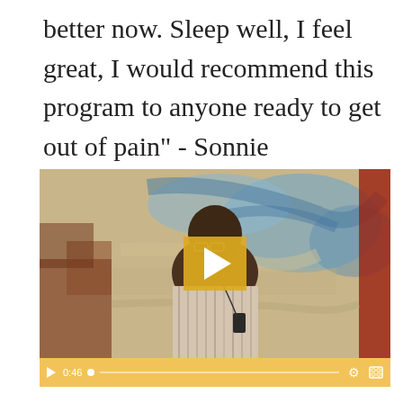better now. Sleep well, I feel great, I would recommend this program to anyone ready to get out of pain" - Sonnie
[Figure (screenshot): Video player showing a man in a striped shirt standing in front of an abstract painted background. A large golden/amber play button is overlaid in the center. The video controls bar at the bottom shows a play button, timestamp 0:46, a progress dot, progress bar, settings gear icon, and fullscreen icon.]